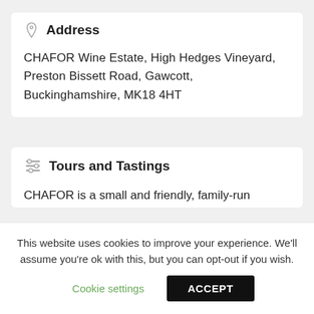Address
CHAFOR Wine Estate, High Hedges Vineyard, Preston Bissett Road, Gawcott, Buckinghamshire, MK18 4HT
Tours and Tastings
CHAFOR is a small and friendly, family-run boutique wine estate is set in 23 acres of Buckinghamshire countryside. Our winery and hand-built tasting room are complemented by a self-guided nature trail and lake-side area, ideal for picnics
This website uses cookies to improve your experience. We'll assume you're ok with this, but you can opt-out if you wish.
Cookie settings   ACCEPT